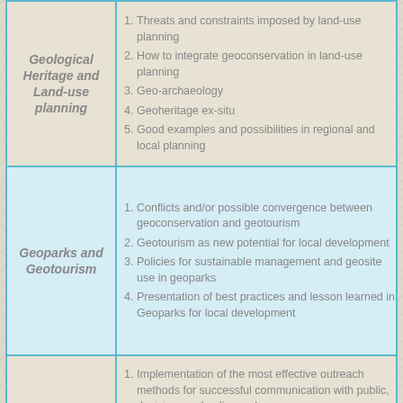| Category | Topics |
| --- | --- |
| Geological Heritage and Land-use planning | 1. Threats and constraints imposed by land-use planning
2. How to integrate geoconservation in land-use planning
3. Geo-archaeology
4. Geoheritage ex-situ
5. Good examples and possibilities in regional and local planning |
| Geoparks and Geotourism | 1. Conflicts and/or possible convergence between geoconservation and geotourism
2. Geotourism as new potential for local development
3. Policies for sustainable management and geosite use in geoparks
4. Presentation of best practices and lesson learned in Geoparks for local development |
|  | 1. Implementation of the most effective outreach methods for successful communication with public, decision- and policy-makers
2. Presentation of best practices in |